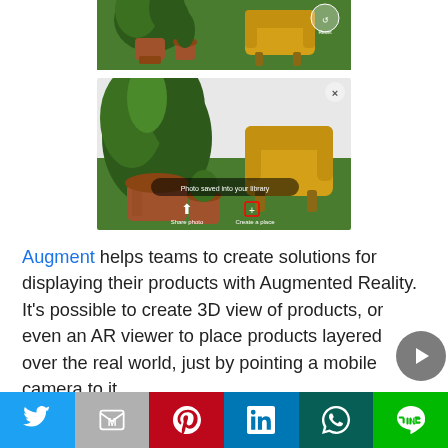[Figure (screenshot): Top screenshot of AR app showing yellow armchair placed on green grass next to potted plants, with reset button visible]
[Figure (screenshot): Bottom screenshot of AR app showing yellow armchair on green grass next to large potted plants, with 'Photo saved into your library', 'Share photo' and 'Create a place' options visible]
Augment helps teams to create solutions for displaying their products with Augmented Reality. It's possible to create 3D view of products, or even an AR viewer to place products layered over the real world, just by pointing a mobile camera to it.
[Figure (infographic): Social sharing footer bar with Twitter, Gmail, Pinterest, LinkedIn, WhatsApp, and Line buttons]